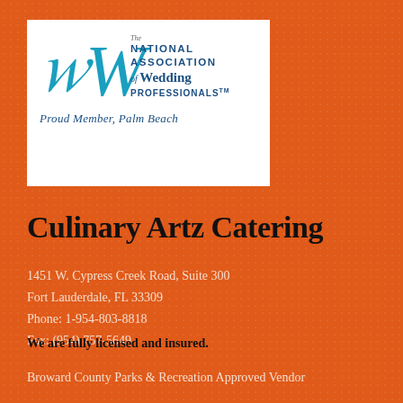[Figure (logo): The National Association of Wedding Professionals logo with a stylized blue W and text, and 'Proud Member, Palm Beach' below]
Culinary Artz Catering
1451 W. Cypress Creek Road, Suite 300
Fort Lauderdale, FL 33309
Phone: 1-954-803-8818
Fax: (954) 757-5649
We are fully licensed and insured.
Broward County Parks & Recreation Approved Vendor